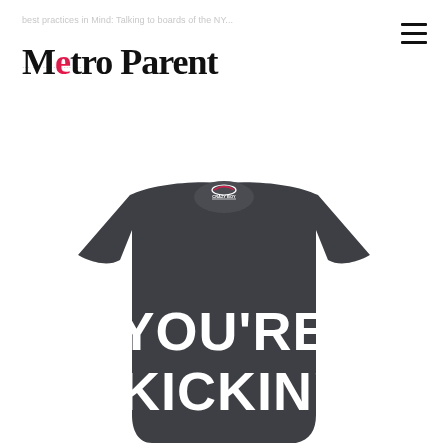Metro Parent
[Figure (photo): Back view of a dark gray t-shirt with text YOU'RE KICKIN' on it, with a Crazy Boy brand logo at the collar]